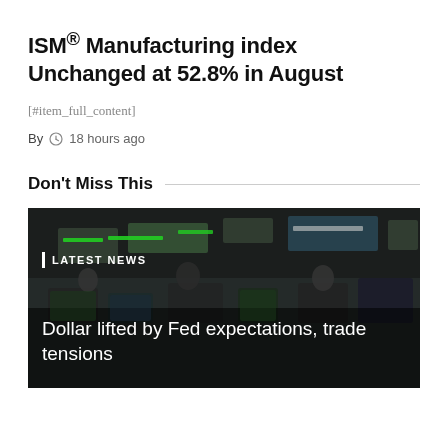ISM® Manufacturing index Unchanged at 52.8% in August
[#item_full_content]
By  18 hours ago
Don't Miss This
[Figure (photo): Trading floor scene with screens showing stock data. Overlay text: LATEST NEWS | Dollar lifted by Fed expectations, trade tensions]